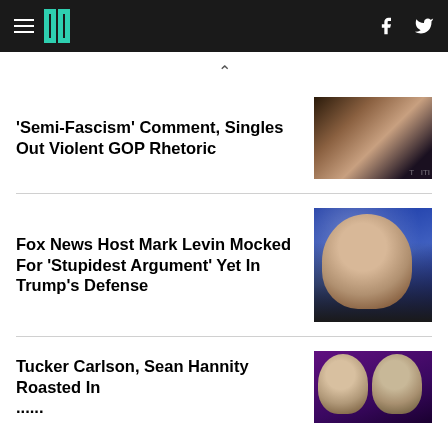HuffPost navigation header with hamburger menu, logo, Facebook and Twitter icons
'Semi-Fascism' Comment, Singles Out Violent GOP Rhetoric
[Figure (photo): Photo of a Black woman speaking at a podium, wearing a dark blazer with red trim]
Fox News Host Mark Levin Mocked For 'Stupidest Argument' Yet In Trump's Defense
[Figure (photo): Photo of a bald man with a grey beard against a blue bokeh background]
Tucker Carlson, Sean Hannity Roasted In...